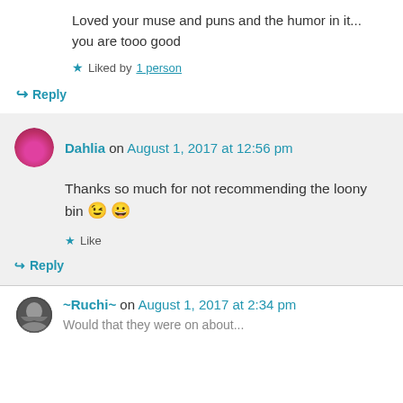Loved your muse and puns and the humor in it... you are tooo good
★ Liked by 1 person
↪ Reply
Dahlia on August 1, 2017 at 12:56 pm
Thanks so much for not recommending the loony bin 😉 😀
★ Like
↪ Reply
~Ruchi~ on August 1, 2017 at 2:34 pm
Would that they were on about...